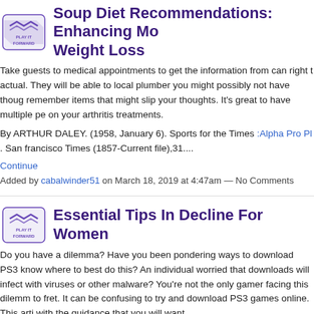Soup Diet Recommendations: Enhancing Mo Weight Loss
Take guests to medical appointments to get the information from can right t actual. They will be able to local plumber you might possibly not have thoug remember items that might slip your thoughts. It's great to have multiple pe on your arthritis treatments.
By ARTHUR DALEY. (1958, January 6). Sports for the Times :Alpha Pro Pl . San francisco Times (1857-Current file),31....
Continue
Added by cabalwinder51 on March 18, 2019 at 4:47am — No Comments
Essential Tips In Decline For Women
Do you have a dilemma? Have you been pondering ways to download PS3 know where to best do this? An individual worried that downloads will infect with viruses or other malware? You're not the only gamer facing this dilemm to fret. It can be confusing to try and download PS3 games online. This arti with the guidance that you will want.
[Figure (photo): Photo of a wooden cabinet with curtains, person partially visible]
Althou intern disco